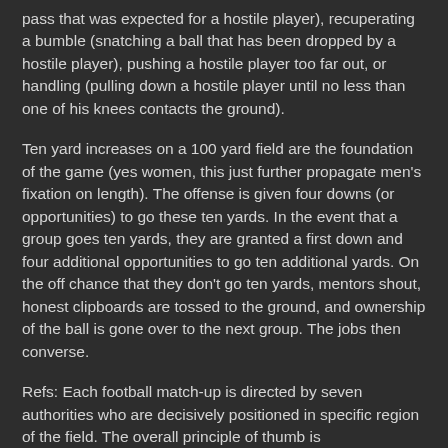pass that was expected for a hostile player), recuperating a bumble (snatching a ball that has been dropped by a hostile player), pushing a hostile player too far out, or handling (pulling down a hostile player until no less than one of his knees contacts the ground).
Ten yard increases on a 100 yard field are the foundation of the game (yes women, this just further propagate men's fixation on length). The offense is given four downs (or opportunities) to go these ten yards. In the event that a group goes ten yards, they are granted a first down and four additional opportunities to go ten additional yards. On the off chance that they don't go ten yards, mentors shout, honest clipboards are tossed to the ground, and ownership of the ball is gone over to the next group. The jobs then converse.
Refs: Each football match-up is directed by seven authorities who are decisively positioned in specific region of the field. The overall principle of thumb is straightforward: at whatever point the refs settle on a decision for the rival group they are considered visually impaired savages of nature who ought to be hauled out